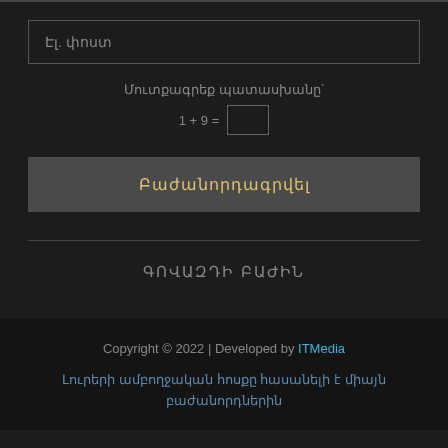Էլ. փոստ
Մուտքագրեք պատասխանը՝
1 + 9 =
Բաժանորդագրվել
ԳՈՎԱԶԴԻ ԲԱԺԻՆ
Copyright © 2022 | Developed by ITMedia
Լուրերի ամբողջական հոսքը հասանելի է միայն բաժանորդներին